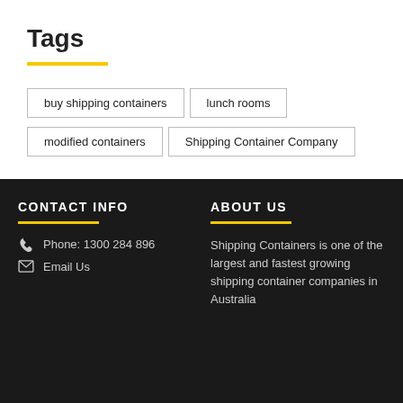Tags
buy shipping containers
lunch rooms
modified containers
Shipping Container Company
CONTACT INFO
ABOUT US
Phone: 1300 284 896
Email Us
Shipping Containers is one of the largest and fastest growing shipping container companies in Australia